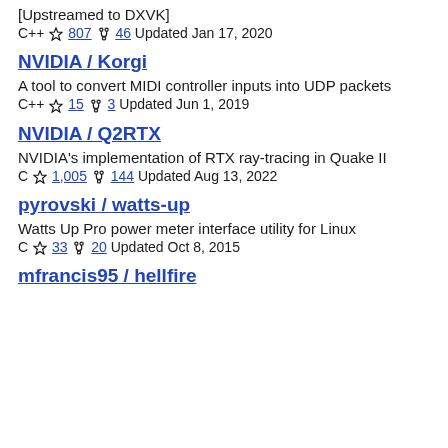[Upstreamed to DXVK]
C++ ☆ 807  46  Updated Jan 17, 2020
NVIDIA / Korgi
A tool to convert MIDI controller inputs into UDP packets
C++ ☆ 15  3  Updated Jun 1, 2019
NVIDIA / Q2RTX
NVIDIA's implementation of RTX ray-tracing in Quake II
C ☆ 1,005  144  Updated Aug 13, 2022
pyrovski / watts-up
Watts Up Pro power meter interface utility for Linux
C ☆ 33  20  Updated Oct 8, 2015
mfrancis95 / hellfire